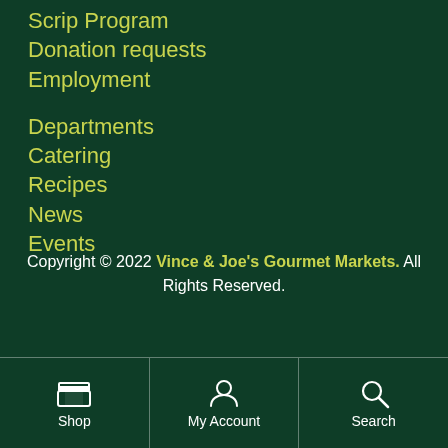Scrip Program
Donation requests
Employment
Departments
Catering
Recipes
News
Events
Copyright © 2022 Vince & Joe's Gourmet Markets. All Rights Reserved.
Shop | My Account | Search